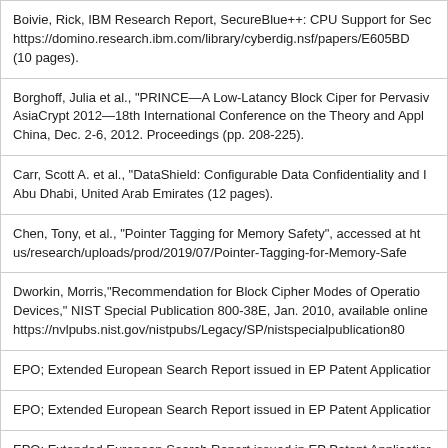Boivie, Rick, IBM Research Report, SecureBlue++: CPU Support for Sec https://domino.research.ibm.com/library/cyberdig.nsf/papers/E605BD (10 pages).
Borghoff, Julia et al., "PRINCE—A Low-Latancy Block Ciper for Pervasiv AsiaCrypt 2012—18th International Conference on the Theory and Appl China, Dec. 2-6, 2012. Proceedings (pp. 208-225).
Carr, Scott A. et al., "DataShield: Configurable Data Confidentiality and I Abu Dhabi, United Arab Emirates (12 pages).
Chen, Tony, et al., "Pointer Tagging for Memory Safety", accessed at ht us/research/uploads/prod/2019/07/Pointer-Tagging-for-Memory-Safe
Dworkin, Morris,"Recommendation for Block Cipher Modes of Operatio Devices," NIST Special Publication 800-38E, Jan. 2010, available online https://nvlpubs.nist.gov/nistpubs/Legacy/SP/nistspecialpublication80
EPO; Extended European Search Report issued in EP Patent Applicatior
EPO; Extended European Search Report issued in EP Patent Applicatior
EPO; Extended European Search Report issued in EP Patent Applicatior
EPO; Extended European Search Report issued in EP Patent Applicatior
EPO; Extended European Search Report issued in EP Patent Applicatior